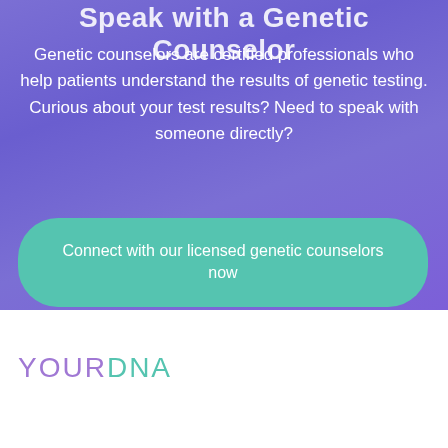Speak with a Genetic Counselor
Genetic counselors are certified professionals who help patients understand the results of genetic testing. Curious about your test results? Need to speak with someone directly?
Connect with our licensed genetic counselors now
[Figure (logo): YOURDNA logo with YOUR in purple and DNA in teal/green]